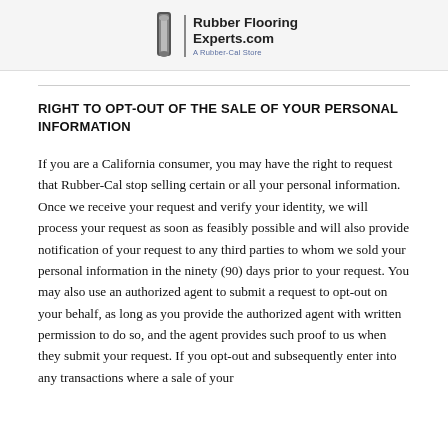RubberFlooringExperts.com — A Rubber-Cal Store
RIGHT TO OPT-OUT OF THE SALE OF YOUR PERSONAL INFORMATION
If you are a California consumer, you may have the right to request that Rubber-Cal stop selling certain or all your personal information. Once we receive your request and verify your identity, we will process your request as soon as feasibly possible and will also provide notification of your request to any third parties to whom we sold your personal information in the ninety (90) days prior to your request. You may also use an authorized agent to submit a request to opt-out on your behalf, as long as you provide the authorized agent with written permission to do so, and the agent provides such proof to us when they submit your request. If you opt-out and subsequently enter into any transactions where a sale of your